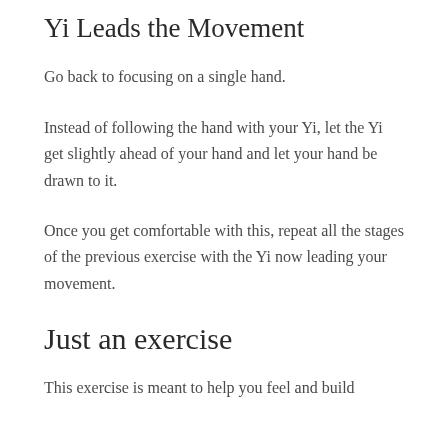Yi Leads the Movement
Go back to focusing on a single hand.
Instead of following the hand with your Yi, let the Yi get slightly ahead of your hand and let your hand be drawn to it.
Once you get comfortable with this, repeat all the stages of the previous exercise with the Yi now leading your movement.
Just an exercise
This exercise is meant to help you feel and build